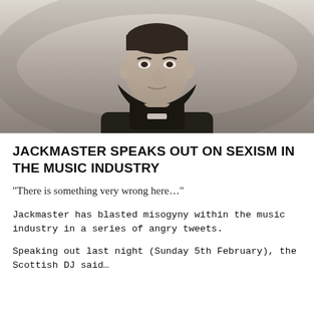[Figure (photo): Black and white portrait photograph of a man (Jackmaster) wearing a dark jacket, looking directly at the camera against a light background.]
JACKMASTER SPEAKS OUT ON SEXISM IN THE MUSIC INDUSTRY
“There is something very wrong here…”
Jackmaster has blasted misogyny within the music industry in a series of angry tweets.
Speaking out last night (Sunday 5th February), the Scottish DJ said…